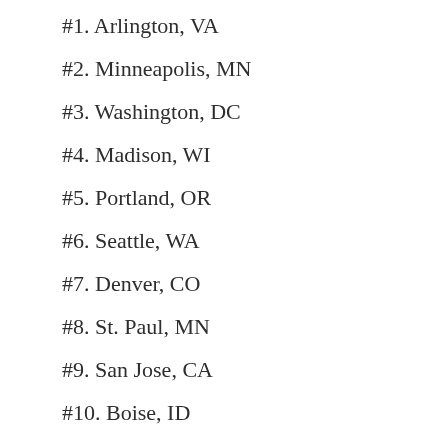#1. Arlington, VA
#2. Minneapolis, MN
#3. Washington, DC
#4. Madison, WI
#5. Portland, OR
#6. Seattle, WA
#7. Denver, CO
#8. St. Paul, MN
#9. San Jose, CA
#10. Boise, ID